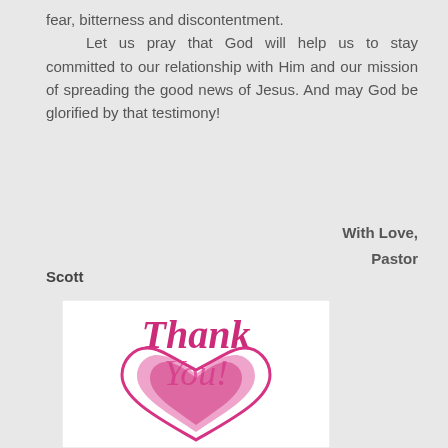fear, bitterness and discontentment. Let us pray that God will help us to stay committed to our relationship with Him and our mission of spreading the good news of Jesus. And may God be glorified by that testimony!
With Love,
Pastor
Scott
[Figure (illustration): A 'Thank You!' card image with pink cursive script text saying 'Thank You!' and a heart graphic below with an outer pink outline heart and a filled pink/magenta inner heart, on a white background.]